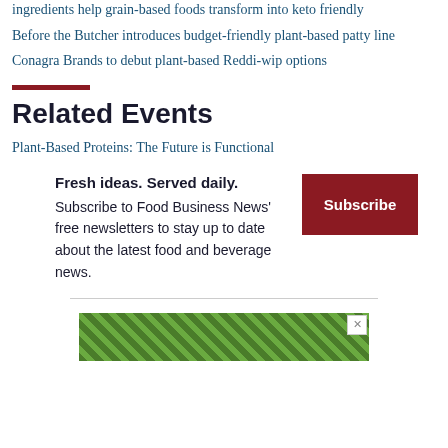ingredients help grain-based foods transform into keto friendly
Before the Butcher introduces budget-friendly plant-based patty line
Conagra Brands to debut plant-based Reddi-wip options
Related Events
Plant-Based Proteins: The Future is Functional
Fresh ideas. Served daily. Subscribe to Food Business News' free newsletters to stay up to date about the latest food and beverage news.
[Figure (other): Green textured advertisement banner with an X close button]